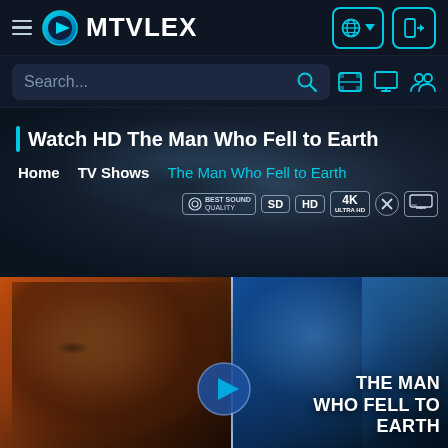MTVLEX — navigation bar with hamburger menu, logo, globe/language button, login button
Search...
Watch HD The Man Who Fell to Earth
Home  TV Shows  The Man Who Fell to Earth
[Figure (screenshot): Streaming website screenshot showing MTVLEX logo, search bar, breadcrumb navigation and poster for 'The Man Who Fell to Earth' with SD/HD/4K quality badges and a split-face movie poster]
THE MAN WHO FELL TO EARTH